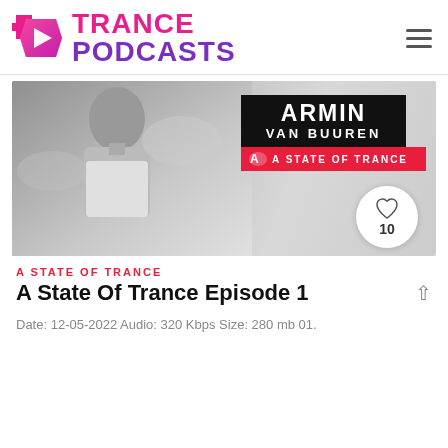TRANCE PODCASTS
[Figure (photo): Banner photo of Armin van Buuren with 'ARMIN VAN BUUREN A STATE OF TRANCE' logo overlay and a heart/like button showing 10 likes]
A STATE OF TRANCE
A State Of Trance Episode 1
Date: 12-05-2022 Audio: 320 Kbps Size: 280 mb 01.